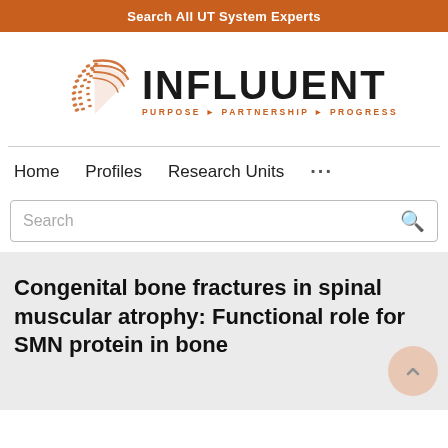Search All UT System Experts
[Figure (logo): Influuent logo with orange geometric wing/triangle shape and text: INFLUUENT, PURPOSE ▶ PARTNERSHIP ▶ PROGRESS]
Home   Profiles   Research Units   ...
Search
Congenital bone fractures in spinal muscular atrophy: Functional role for SMN protein in bone